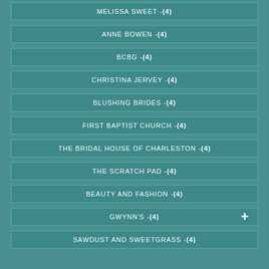MELISSA SWEET - (4)
ANNE BOWEN - (4)
BCBG - (4)
CHRISTINA JERVEY - (4)
BLUSHING BRIDES - (4)
FIRST BAPTIST CHURCH - (4)
THE BRIDAL HOUSE OF CHARLESTON - (4)
THE SCRATCH PAD - (4)
BEAUTY AND FASHION - (4)
GWYNN'S - (4)
SAWDUST AND SWEETGRASS - (4)